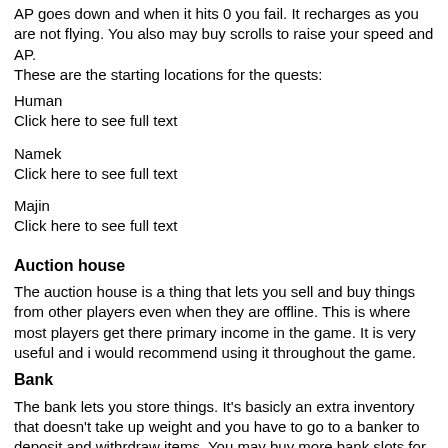AP goes down and when it hits 0 you fail. It recharges as you are not flying. You also may buy scrolls to raise your speed and AP.
These are the starting locations for the quests:
Human
Click here to see full text
Namek
Click here to see full text
Majin
Click here to see full text
Auction house
The auction house is a thing that lets you sell and buy things from other players even when they are offline. This is where most players get there primary income in the game. It is very useful and i would recommend using it throughout the game.
Bank
The bank lets you store things. It's basicly an extra inventory that doesn't take up weight and you have to go to a banker to deposit and withrdraw items. You may buy more bank slots for zeni. If you are a JR master or master of a guild you get an extra bank slot as well. You may also rent a shared bank slot from the cash shop that may be used by all players on one server of the account.
Mail